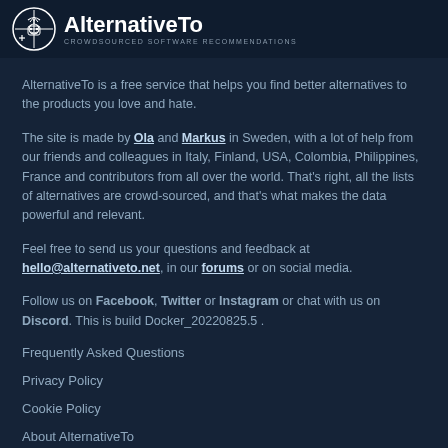[Figure (logo): AlternativeTo logo with circular icon and text 'AlternativeTo - Crowdsourced Software Recommendations']
AlternativeTo is a free service that helps you find better alternatives to the products you love and hate.
The site is made by Ola and Markus in Sweden, with a lot of help from our friends and colleagues in Italy, Finland, USA, Colombia, Philippines, France and contributors from all over the world. That's right, all the lists of alternatives are crowd-sourced, and that's what makes the data powerful and relevant.
Feel free to send us your questions and feedback at hello@alternativeto.net, in our forums or on social media.
Follow us on Facebook, Twitter or Instagram or chat with us on Discord. This is build Docker_20220825.5 .
Frequently Asked Questions
Privacy Policy
Cookie Policy
About AlternativeTo